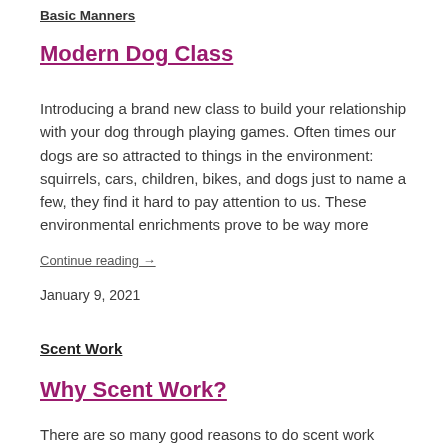Basic Manners
Modern Dog Class
Introducing a brand new class to build your relationship with your dog through playing games. Often times our dogs are so attracted to things in the environment: squirrels, cars, children, bikes, and dogs just to name a few, they find it hard to pay attention to us. These environmental enrichments prove to be way more
Continue reading  →
January 9, 2021
Scent Work
Why Scent Work?
There are so many good reasons to do scent work (often